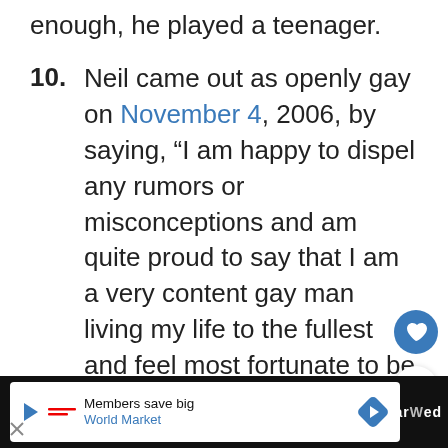enough, he played a teenager.
10. Neil came out as openly gay on November 4, 2006, by saying, “I am happy to dispel any rumors or misconceptions and am quite proud to say that I am a very content gay man living my life to the fullest and feel most fortunate to be working with wonderful people in the business I love.”
11. Neil has been with his partner, David
Members save big World Market